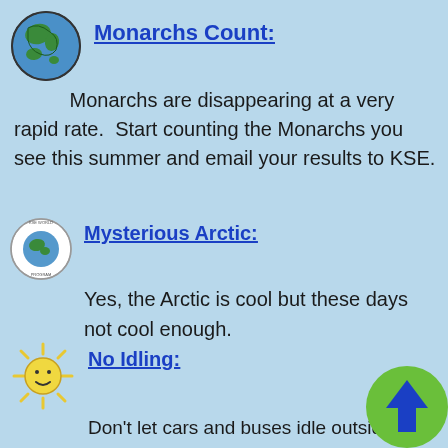[Figure (illustration): Hand-drawn globe with blue oceans and green continents]
Monarchs Count:
Monarchs are disappearing at a very rapid rate.  Start counting the Monarchs you see this summer and email your results to KSE.
[Figure (logo): Circular logo with globe and text around the edge]
Mysterious Arctic:
Yes, the Arctic is cool but these days not cool enough.
[Figure (illustration): Hand-drawn smiling sun with rays]
No Idling:
Don't let cars and buses idle outside school buildings. It's bad for healt
Learn what you can do about it.
[Figure (illustration): Green circle with blue upward-pointing arrow]